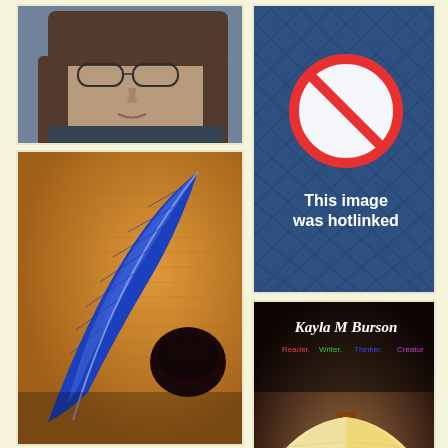[Figure (photo): Close-up photo of a young woman's face, looking down, wearing glasses, with brown hair]
[Figure (infographic): Hotlinked image notice: dark blue patterned background with a red prohibition/stop circle icon and text 'This image was hotlinked']
[Figure (photo): Close-up photo of a blue feather quill pen resting on handwritten text with an ink pot]
[Figure (illustration): Kayla M Burson branding image with text 'Kayla M Burson', 'Reader Writer Thinker Creator' and an open book with orange pages]
[Figure (photo): Photo of a small wooden barn or outbuilding surrounded by trees]
[Figure (photo): Black and white portrait photo of a woman with dark bangs and long dark hair]